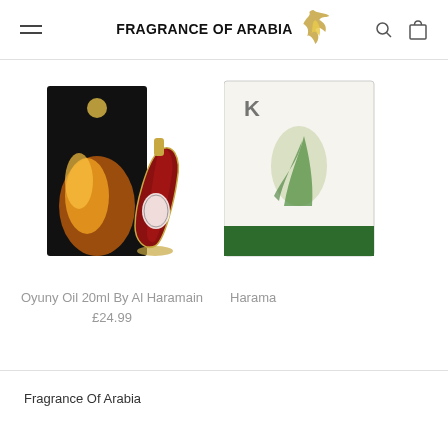Fragrance Of Arabia — navigation header with hamburger menu, logo, search and cart icons
[Figure (photo): Oyuny Oil 20ml By Al Haramain perfume product — black box with orange flame design and a teardrop-shaped red and gold bottle]
Oyuny Oil 20ml By Al Haramain
£24.99
[Figure (photo): Partially visible Haramain product box in white/green — cropped at right edge]
Harama
Fragrance Of Arabia